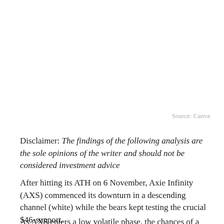Source: Canva
Disclaimer: The findings of the following analysis are the sole opinions of the writer and should not be considered investment advice
After hitting its ATH on 6 November, Axie Infinity (AXS) commenced its downturn in a descending channel (white) while the bears kept testing the crucial $46-support.
As AXS enters a low volatile phase, the chances of a